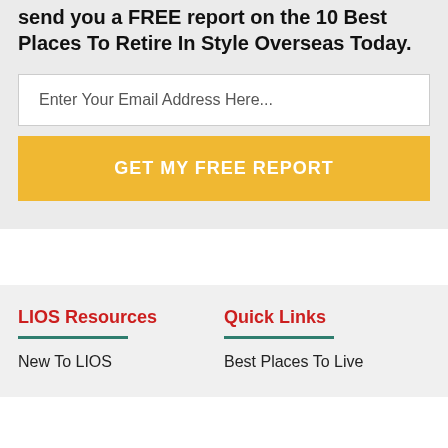send you a FREE report on the 10 Best Places To Retire In Style Overseas Today.
Enter Your Email Address Here...
GET MY FREE REPORT
LIOS Resources
Quick Links
New To LIOS
Best Places To Live